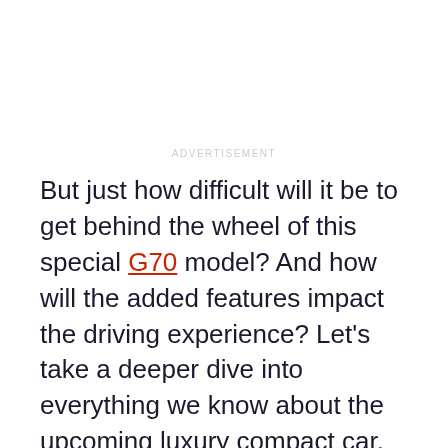ADVERTISEMENT
But just how difficult will it be to get behind the wheel of this special G70 model? And how will the added features impact the driving experience? Let's take a deeper dive into everything we know about the upcoming luxury compact car.
ADVERTISEMENT
[Figure (photo): A blurred red/pink toned photo of a car, predominantly showing warm reddish hues with soft focus.]